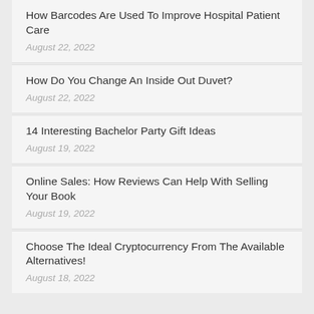How Barcodes Are Used To Improve Hospital Patient Care
August 22, 2022
How Do You Change An Inside Out Duvet?
August 22, 2022
14 Interesting Bachelor Party Gift Ideas
August 19, 2022
Online Sales: How Reviews Can Help With Selling Your Book
August 19, 2022
Choose The Ideal Cryptocurrency From The Available Alternatives!
August 18, 2022